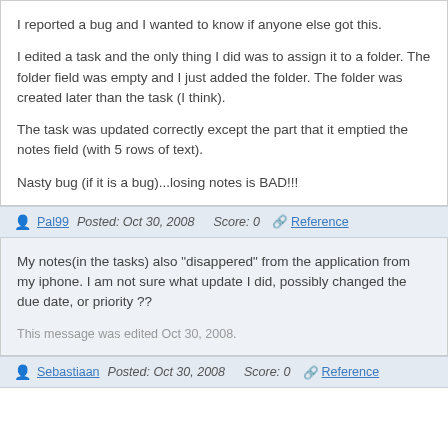I reported a bug and I wanted to know if anyone else got this.

I edited a task and the only thing I did was to assign it to a folder. The folder field was empty and I just added the folder. The folder was created later than the task (I think).

The task was updated correctly except the part that it emptied the notes field (with 5 rows of text).

Nasty bug (if it is a bug)...losing notes is BAD!!!
Pal99   Posted: Oct 30, 2008   Score: 0   Reference
My notes(in the tasks) also "disappered" from the application from my iphone. I am not sure what update I did, possibly changed the due date, or priority ??

This message was edited Oct 30, 2008.
Sebastiaan   Posted: Oct 30, 2008   Score: 0   Reference